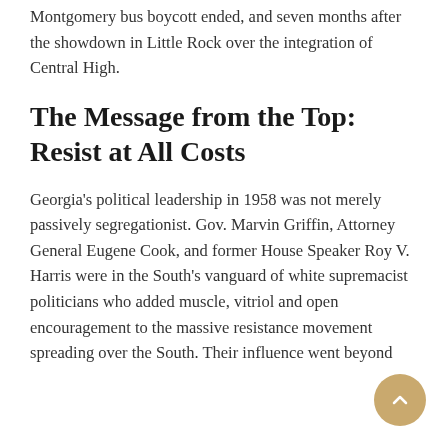Montgomery bus boycott ended, and seven months after the showdown in Little Rock over the integration of Central High.
The Message from the Top: Resist at All Costs
Georgia's political leadership in 1958 was not merely passively segregationist. Gov. Marvin Griffin, Attorney General Eugene Cook, and former House Speaker Roy V. Harris were in the South's vanguard of white supremacist politicians who added muscle, vitriol and open encouragement to the massive resistance movement spreading over the South. Their influence went beyond